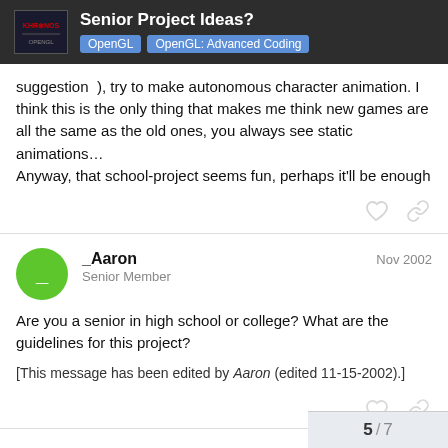Senior Project Ideas? | OpenGL | OpenGL: Advanced Coding
suggestion  ), try to make autonomous character animation. I think this is the only thing that makes me think new games are all the same as the old ones, you always see static animations…
Anyway, that school-project seems fun, perhaps it'll be enough
_Aaron
Senior Member
Nov 2002
Are you a senior in high school or college? What are the guidelines for this project?
[This message has been edited by Aaron (edited 11-15-2002).]
5 / 7